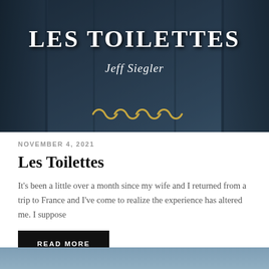[Figure (illustration): Book cover image for 'Les Toilettes' by Jeff Siegler, showing a dark blue-tinted architectural background (ornate doors/columns), white serif title text 'LES TOILETTES', italic author name 'Jeff Siegler', and a gold decorative wave/scroll ornament at the bottom.]
NOVEMBER 4, 2021
Les Toilettes
It's been a little over a month since my wife and I returned from a trip to France and I've come to realize the experience has altered me. I suppose
READ MORE
[Figure (photo): Partial view of a muted blue-grey image at the bottom of the page, likely another blog post thumbnail.]